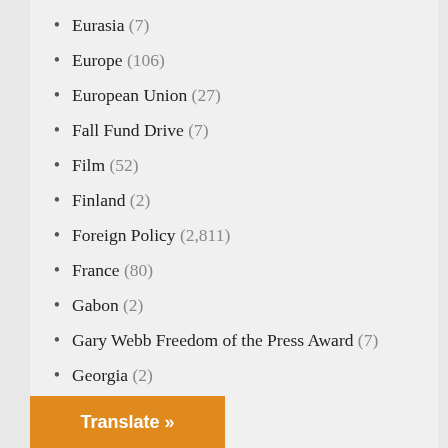Eurasia (7)
Europe (106)
European Union (27)
Fall Fund Drive (7)
Film (52)
Finland (2)
Foreign Policy (2,811)
France (80)
Gabon (2)
Gary Webb Freedom of the Press Award (7)
Georgia (2)
Germany (73)
Ghana (4)
Great Britain (31)
Greece (7)
Guatemala (5)
Gulf States (54)
Gun Violence (50)